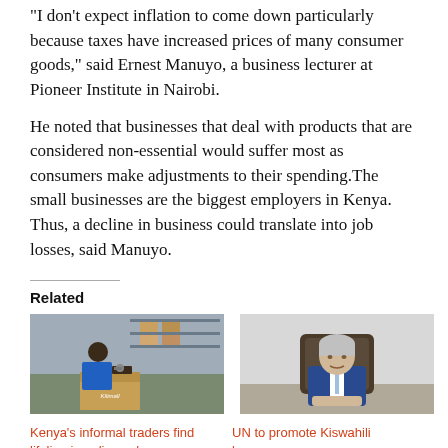“I don’t expect inflation to come down particularly because taxes have increased prices of many consumer goods,” said Ernest Manuyo, a business lecturer at Pioneer Institute in Nairobi.
He noted that businesses that deal with products that are considered non-essential would suffer most as consumers make adjustments to their spending.The small businesses are the biggest employers in Kenya. Thus, a decline in business could translate into job losses, said Manuyo.
Related
[Figure (photo): Woman working at a warehouse packing boxes, with Kilimall branding visible]
Kenya’s informal traders find lifeline in online sales
[Figure (photo): Older man in a blue suit seated at a desk]
UN to promote Kiswahili language